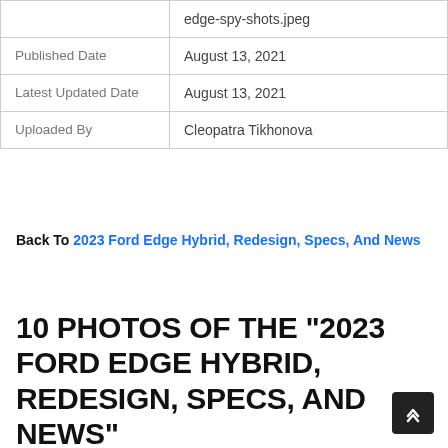|  | edge-spy-shots.jpeg |
| Published Date | August 13, 2021 |
| Latest Updated Date | August 13, 2021 |
| Uploaded By | Cleopatra Tikhonova |
Back To 2023 Ford Edge Hybrid, Redesign, Specs, And News
10 PHOTOS OF THE "2023 FORD EDGE HYBRID, REDESIGN, SPECS, AND NEWS"